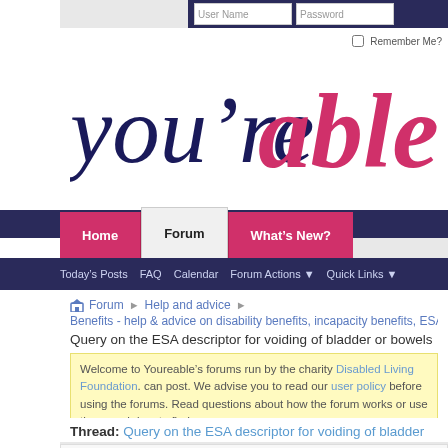[Figure (screenshot): you're able website logo with navy 'you're' text and pink 'able' text]
User Name   Password   Remember Me?
Home | Forum | What's New?
Today's Posts   FAQ   Calendar   Forum Actions   Quick Links
Forum > Help and advice >
Benefits - help & advice on disability benefits, incapacity benefits, ESA
Query on the ESA descriptor for voiding of bladder or bowels
Welcome to Youreable's forums run by the charity Disabled Living Foundation. can post. We advise you to read our user policy before using the forums. Read questions about how the forum works or use the search box to find your way ar
Thread: Query on the ESA descriptor for voiding of bladder
19-05-12 12:50